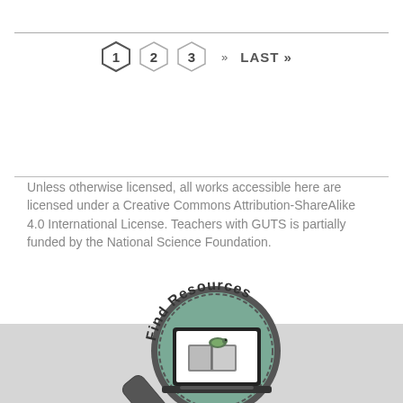[Figure (infographic): Pagination navigation with hexagon-shaped page number buttons: 1 (current, outlined hexagon), 2, 3, then >> and LAST » links]
Unless otherwise licensed, all works accessible here are licensed under a Creative Commons Attribution-ShareAlike 4.0 International License. Teachers with GUTS is partially funded by the National Science Foundation.
[Figure (logo): Find Resources circular logo with magnifying glass, teal circle, and laptop with books and turtle illustration inside]